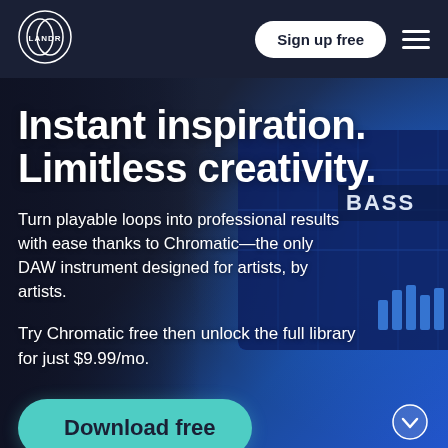[Figure (logo): LANDR logo — two overlapping circles with LANDR text inside]
Sign up free
[Figure (illustration): Hamburger menu icon (three horizontal lines)]
[Figure (photo): Dark background hero image with a person using a laptop, blue glowing screen on the right showing a DAW interface with BASS label and waveform bars]
Instant inspiration. Limitless creativity.
Turn playable loops into professional results with ease thanks to Chromatic—the only DAW instrument designed for artists, by artists.
Try Chromatic free then unlock the full library for just $9.99/mo.
Download free